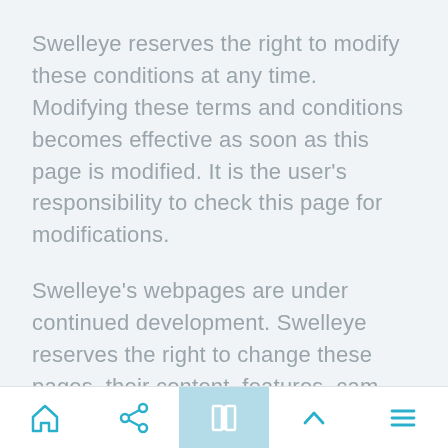Swelleye reserves the right to modify these conditions at any time. Modifying these terms and conditions becomes effective as soon as this page is modified. It is the user's responsibility to check this page for modifications.
Swelleye's webpages are under continued development. Swelleye reserves the right to change these pages, their content, features, cam locations, video availability, video player technology, and layout
Navigation bar with home, share, map, up, and menu icons